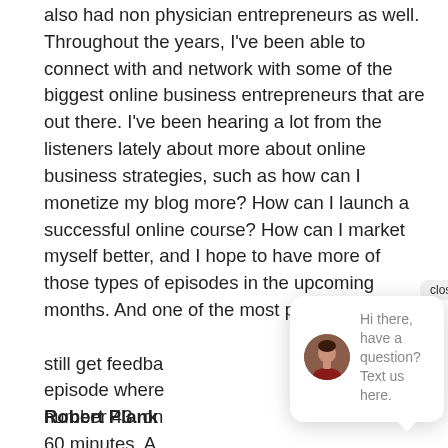also had non physician entrepreneurs as well. Throughout the years, I've been able to connect with and network with some of the biggest online business entrepreneurs that are out there. I've been hearing a lot from the listeners lately about more about online business strategies, such as how can I monetize my blog more? How can I launch a successful online course? How can I market myself better, and I hope to have more of those types of episodes in the upcoming months. And one of the most popular episodes still get feedba episode where number 43. on 60 minutes. A about episodes we've ever launched. Let's hear from Robert plank.
[Figure (other): Chat popup overlay with a female avatar photo, text 'Hi there, have a question? Text us here.' and a close button pill. Below is a blue circular chat button with a speech bubble icon and a 'Terms' label.]
Robert Plank